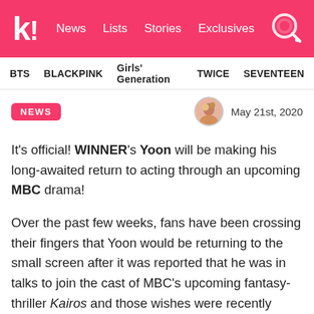k! News Lists Stories Exclusives
BTS BLACKPINK Girls' Generation TWICE SEVENTEEN
NEWS  May 21st, 2020
It's official! WINNER's Yoon will be making his long-awaited return to acting through an upcoming MBC drama!
Over the past few weeks, fans have been crossing their fingers that Yoon would be returning to the small screen after it was reported that he was in talks to join the cast of MBC's upcoming fantasy-thriller Kairos and those wishes were recently granted. On May 20, YG Entertainment confirmed Yoon would be joining the drama as a member of the main cast.